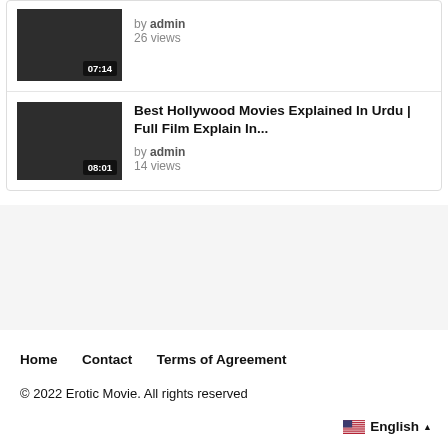[Figure (screenshot): Video thumbnail with dark background and duration 07:14]
by admin
26 views
[Figure (screenshot): Video thumbnail with dark background and duration 08:01]
Best Hollywood Movies Explained In Urdu | Full Film Explain In...
by admin
14 views
Home
Contact
Terms of Agreement
© 2022 Erotic Movie. All rights reserved
English